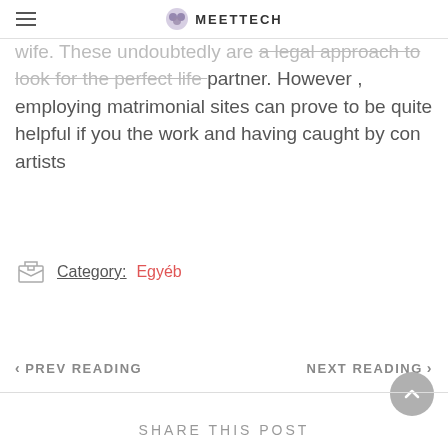MEETTECH
way to save funds while looking to get a perfect wife. These undoubtedly are a legal approach to look for the perfect life partner. However , employing matrimonial sites can prove to be quite helpful if you the work and having caught by con artists
Category:  Egyéb
< PREV READING    NEXT READING >
SHARE THIS POST